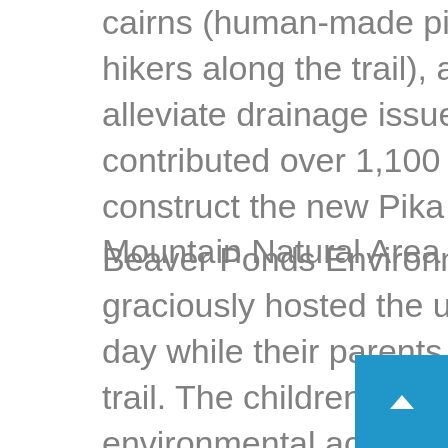cairns (human-made piles of stones that guide hikers along the trail), and 4 waterbars to help alleviate drainage issues. VOC altogether contributed over 1,100 hours of work to construct the new Pika Trail at Pennsylvania Mountain Natural Area in August.
Beaver Ponds Environmental Education Center graciously hosted the under 12 kids during the day while their parents were hard at work on the trail. The children enjoyed many fun and exciting environmental activities. Highlights included feeding alpacas and goats, learning